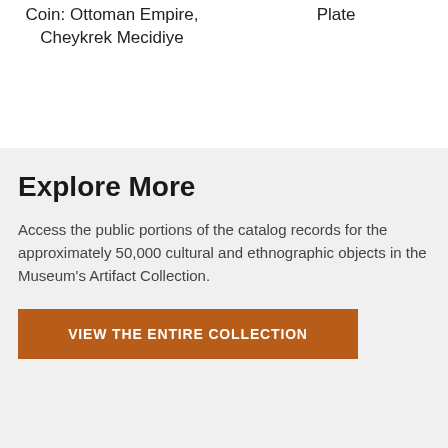Coin: Ottoman Empire, Cheykrek Mecidiye
Plate
Explore More
Access the public portions of the catalog records for the approximately 50,000 cultural and ethnographic objects in the Museum's Artifact Collection.
VIEW THE ENTIRE COLLECTION